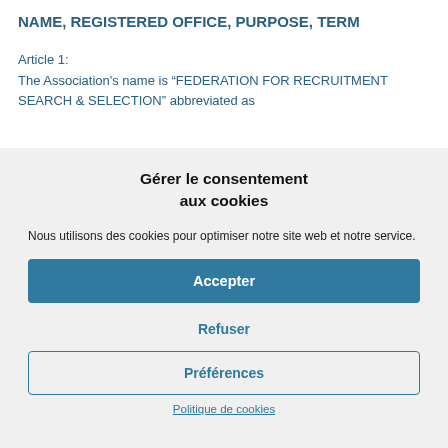NAME, REGISTERED OFFICE, PURPOSE, TERM
Article 1:
The Association's name is “FEDERATION FOR RECRUITMENT SEARCH & SELECTION” abbreviated as
Gérer le consentement aux cookies
Nous utilisons des cookies pour optimiser notre site web et notre service.
Accepter
Refuser
Préférences
Politique de cookies